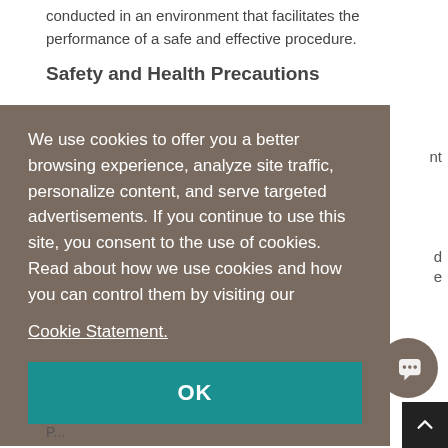conducted in an environment that facilitates the performance of a safe and effective procedure.
Safety and Health Precautions
We use cookies to offer you a better browsing experience, analyze site traffic, personalize content, and serve targeted advertisements. If you continue to use this site, you consent to the use of cookies. Read about how we use cookies and how you can control them by visiting our Cookie Statement.
OK